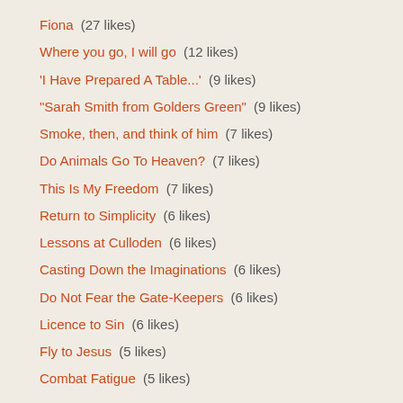Fiona  (27 likes)
Where you go, I will go  (12 likes)
'I Have Prepared A Table...'  (9 likes)
"Sarah Smith from Golders Green"  (9 likes)
Smoke, then, and think of him  (7 likes)
Do Animals Go To Heaven?  (7 likes)
This Is My Freedom  (7 likes)
Return to Simplicity  (6 likes)
Lessons at Culloden  (6 likes)
Casting Down the Imaginations  (6 likes)
Do Not Fear the Gate-Keepers  (6 likes)
Licence to Sin  (6 likes)
Fly to Jesus  (5 likes)
Combat Fatigue  (5 likes)